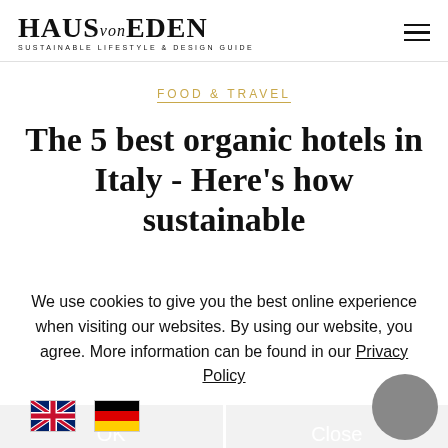HAUS von EDEN — SUSTAINABLE LIFESTYLE & DESIGN GUIDE
FOOD & TRAVEL
The 5 best organic hotels in Italy - Here's how sustainable
We use cookies to give you the best online experience when visiting our websites. By using our website, you agree. More information can be found in our Privacy Policy
OK
Close